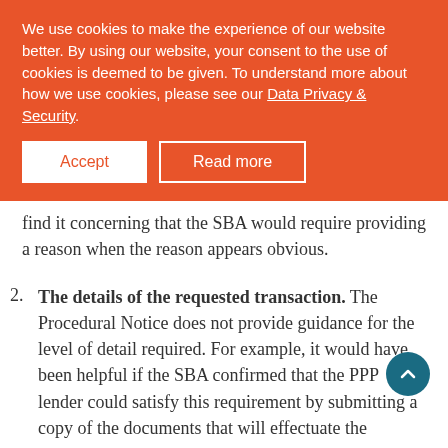We use cookies to make the experience of our website better. By using our website, your consent to the use of cookies is deemed to be given. To understand more about how we use cookies, please see our Data Privacy & Security.
find it concerning that the SBA would require providing a reason when the reason appears obvious.
2. The details of the requested transaction. The Procedural Notice does not provide guidance for the level of detail required. For example, it would have been helpful if the SBA confirmed that the PPP lender could satisfy this requirement by submitting a copy of the documents that will effectuate the